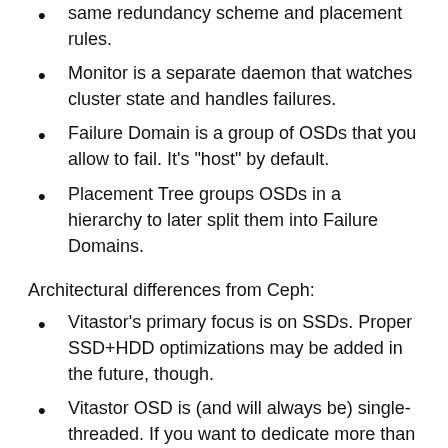same redundancy scheme and placement rules.
Monitor is a separate daemon that watches cluster state and handles failures.
Failure Domain is a group of OSDs that you allow to fail. It's "host" by default.
Placement Tree groups OSDs in a hierarchy to later split them into Failure Domains.
Architectural differences from Ceph:
Vitastor's primary focus is on SSDs. Proper SSD+HDD optimizations may be added in the future, though.
Vitastor OSD is (and will always be) single-threaded. If you want to dedicate more than 1 core per drive you should